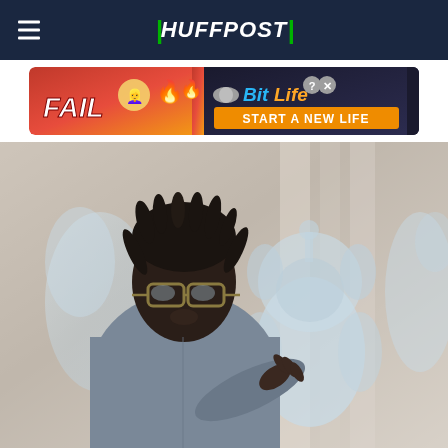HuffPost
[Figure (illustration): Advertisement banner for BitLife mobile game featuring 'FAIL' text with cartoon character and flames on left, BitLife logo and 'START A NEW LIFE' tagline on right against dark background]
[Figure (photo): A man with dreadlocks and glasses wearing a blue/grey shirt stands next to and touches ice sculptures including a Teletubbies-style character, with other ice sculptures visible in background]